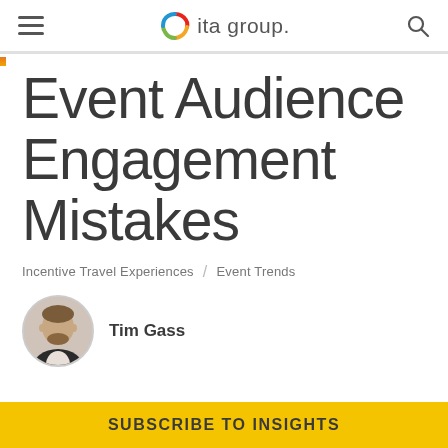ita group.
Event Audience Engagement Mistakes
Incentive Travel Experiences / Event Trends
Tim Gass
SUBSCRIBE TO INSIGHTS